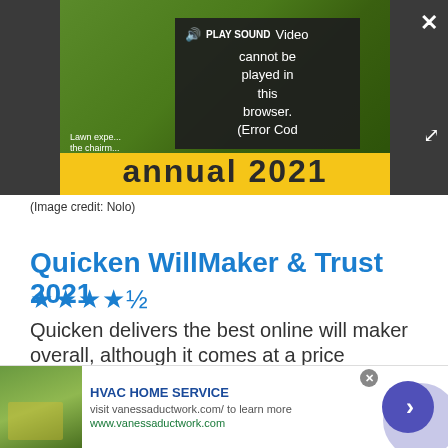[Figure (screenshot): Video player showing error overlay: 'Video cannot be played in this browser. (Error Cod' with PLAY SOUND button. Green lawn background with yellow bar at bottom. Close and fullscreen buttons visible.]
(Image credit: Nolo)
Quicken WillMaker & Trust 2021
★★★★½
Quicken delivers the best online will maker overall, although it comes at a price
[Figure (screenshot): Advertisement banner: HVAC HOME SERVICE - visit vanessaductwork.com/ to learn more - www.vanessaductwork.com - with gardening image and purple arrow button]